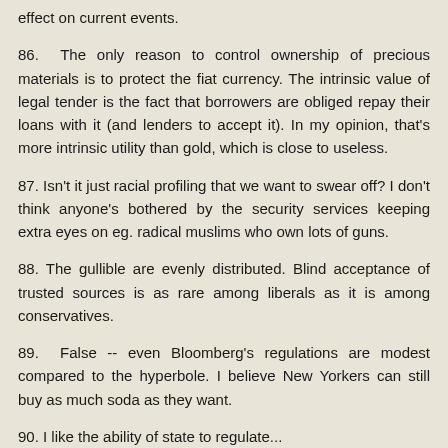effect on current events.
86.  The only reason to control ownership of precious materials is to protect the fiat currency. The intrinsic value of legal tender is the fact that borrowers are obliged repay their loans with it (and lenders to accept it). In my opinion, that's more intrinsic utility than gold, which is close to useless.
87. Isn't it just racial profiling that we want to swear off? I don't think anyone's bothered by the security services keeping extra eyes on eg. radical muslims who own lots of guns.
88. The gullible are evenly distributed. Blind acceptance of trusted sources is as rare among liberals as it is among conservatives.
89.  False -- even Bloomberg's regulations are modest compared to the hyperbole. I believe New Yorkers can still buy as much soda as they want.
90. I like the ability of state to regulate...